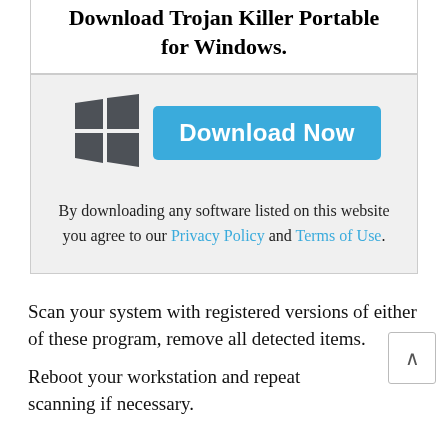Download Trojan Killer Portable for Windows.
[Figure (other): Download Now button with Windows logo icon and blue rounded rectangle button labeled 'Download Now']
By downloading any software listed on this website you agree to our Privacy Policy and Terms of Use.
Scan your system with registered versions of either of these program, remove all detected items.
Reboot your workstation and repeat scanning if necessary.